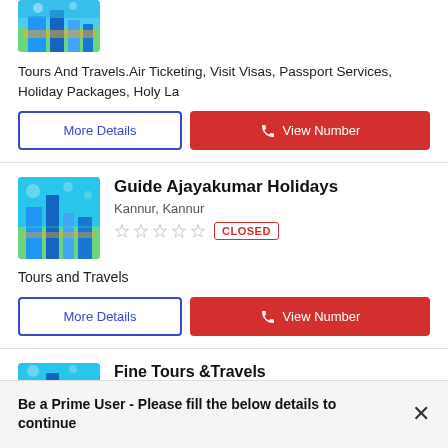[Figure (illustration): Travel/tourism themed illustration with buildings and colorful icons]
Tours And Travels.Air Ticketing, Visit Visas, Passport Services, Holiday Packages, Holy La
More Details
View Number
[Figure (illustration): Smart city / travel themed illustration with buildings and tech icons]
Guide Ajayakumar Holidays
Kannur, Kannur
CLOSED
Tours and Travels
More Details
View Number
[Figure (illustration): Smart city / travel themed illustration]
Fine Tours &Travels
Kannur, Kannur
Be a Prime User - Please fill the below details to continue